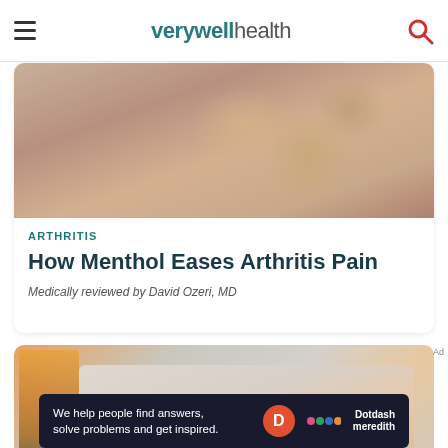verywell health
[Figure (photo): Close-up of elderly hands, one applying cream or ointment to the other, arthritis-related image]
ARTHRITIS
How Menthol Eases Arthritis Pain
Medically reviewed by David Ozeri, MD
[Figure (photo): Person in white shirt rubbing or massaging their hands near a window with orange flowers visible on the left]
Ad
[Figure (logo): Dotdash Meredith advertisement banner: 'We help people find answers, solve problems and get inspired.' with Dotdash Meredith logo]